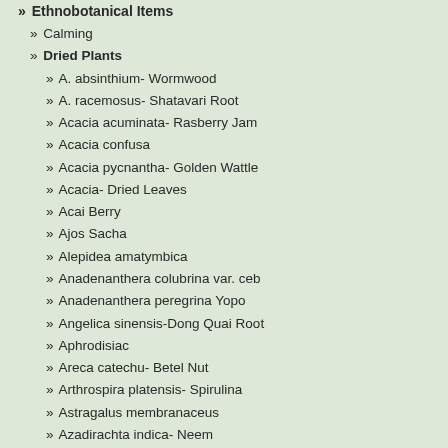» Ethnobotanical Items
» Calming
» Dried Plants
» A. absinthium- Wormwood
» A. racemosus- Shatavari Root
» Acacia acuminata- Rasberry Jam
» Acacia confusa
» Acacia pycnantha- Golden Wattle
» Acacia- Dried Leaves
» Acai Berry
» Ajos Sacha
» Alepidea amatymbica
» Anadenanthera colubrina var. ceb
» Anadenanthera peregrina Yopo
» Angelica sinensis-Dong Quai Root
» Aphrodisiac
» Areca catechu- Betel Nut
» Arthrospira platensis- Spirulina
» Astragalus membranaceus
» Azadirachta indica- Neem
» B. grandiflora- Chiric Sanango
» Bacopa monnieri- Bacopa
» Bangalala & Love Reed
» Banisteriopsis caapi
» Bee Pollen
attention. Pain also challenges the perception that it is in complete control, opens the door for soul's guidance. If we want to be rid of the pain, we must work that leads us to greater consciousness. Paradoxically, we can only get rid of pain by moving through it. The next time you feel "poor me," stop "What needs to change? What does me to learn?"
Tynanthus panurensis
This is the BEST Clavo
[Figure (photo): Close-up photograph of green tropical plant leaves, likely Tynanthus panurensis (Clavo Huasca), showing large dark green leaves.]